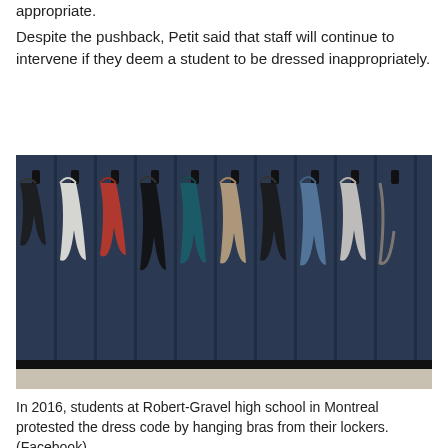appropriate.
Despite the pushback, Petit said that staff will continue to intervene if they deem a student to be dressed inappropriately.
[Figure (photo): Row of dark navy blue school lockers with various bras hanging from the locker handles — white, red/orange, teal/black, and blue bras visible — in a school hallway.]
In 2016, students at Robert-Gravel high school in Montreal protested the dress code by hanging bras from their lockers. (Facebook)